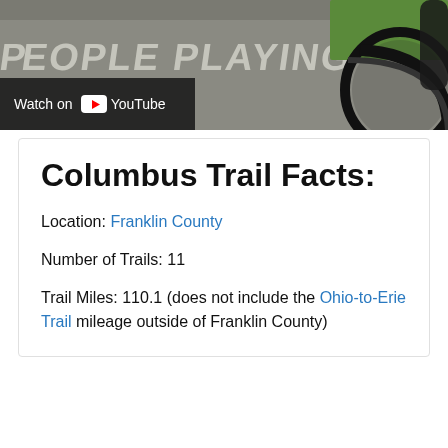[Figure (photo): Overhead view of a paved trail/path with 'PEOPLE PLAYING' written in white paint, a bicycle wheel visible on the right side, and green grass in the upper right corner. A 'Watch on YouTube' overlay button appears in the lower left of the image.]
Columbus Trail Facts:
Location: Franklin County
Number of Trails: 11
Trail Miles: 110.1 (does not include the Ohio-to-Erie Trail mileage outside of Franklin County)